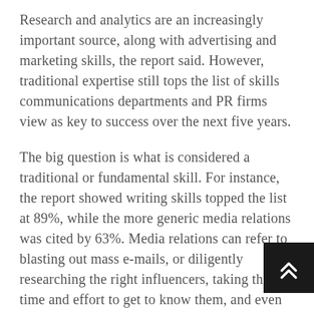Research and analytics are an increasingly important source, along with advertising and marketing skills, the report said. However, traditional expertise still tops the list of skills communications departments and PR firms view as key to success over the next five years.
The big question is what is considered a traditional or fundamental skill. For instance, the report showed writing skills topped the list at 89%, while the more generic media relations was cited by 63%. Media relations can refer to blasting out mass e-mails, or diligently researching the right influencers, taking the time and effort to get to know them, and even following them as they move from one outlet to another.